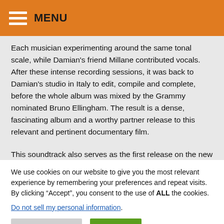MENU
Each musician experimenting around the same tonal scale, while Damian's friend Millane contributed vocals. After these intense recording sessions, it was back to Damian's studio in Italy to edit, compile and complete, before the whole album was mixed by the Grammy nominated Bruno Ellingham. The result is a dense, fascinating album and a worthy partner release to this relevant and pertinent documentary film.
This soundtrack also serves as the first release on the new
We use cookies on our website to give you the most relevant experience by remembering your preferences and repeat visits. By clicking “Accept”, you consent to the use of ALL the cookies.
Do not sell my personal information.